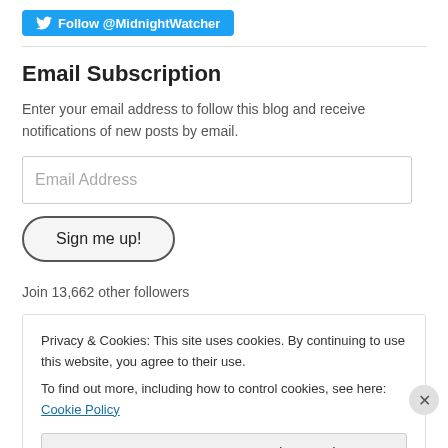[Figure (other): Twitter Follow button for @MidnightWatcher]
Email Subscription
Enter your email address to follow this blog and receive notifications of new posts by email.
Email Address
Sign me up!
Join 13,662 other followers
Privacy & Cookies: This site uses cookies. By continuing to use this website, you agree to their use. To find out more, including how to control cookies, see here: Cookie Policy
Close and accept